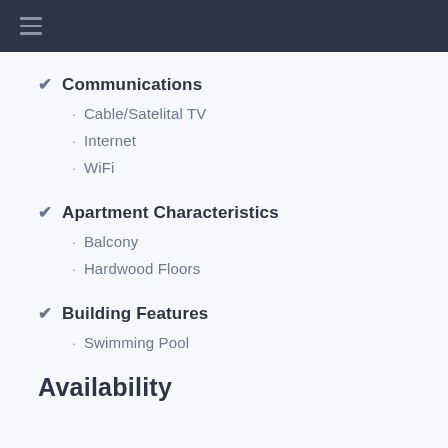Communications
Cable/Satelital TV
Internet
WiFi
Apartment Characteristics
Balcony
Hardwood Floors
Building Features
Swimming Pool
Availability